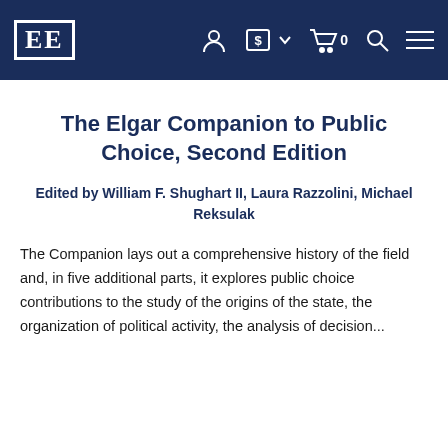EE [logo] navigation bar with user, currency, cart, search, and menu icons
The Elgar Companion to Public Choice, Second Edition
Edited by William F. Shughart II, Laura Razzolini, Michael Reksulak
The Companion lays out a comprehensive history of the field and, in five additional parts, it explores public choice contributions to the study of the origins of the state, the organization of political activity, the analysis of decision...